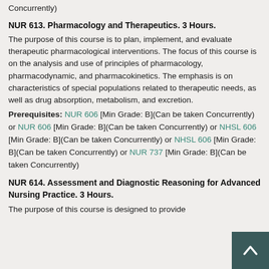Concurrently)
NUR 613. Pharmacology and Therapeutics. 3 Hours.
The purpose of this course is to plan, implement, and evaluate therapeutic pharmacological interventions. The focus of this course is on the analysis and use of principles of pharmacology, pharmacodynamic, and pharmacokinetics. The emphasis is on characteristics of special populations related to therapeutic needs, as well as drug absorption, metabolism, and excretion.
Prerequisites: NUR 606 [Min Grade: B](Can be taken Concurrently) or NUR 606 [Min Grade: B](Can be taken Concurrently) or NHSL 606 [Min Grade: B](Can be taken Concurrently) or NHSL 606 [Min Grade: B](Can be taken Concurrently) or NUR 737 [Min Grade: B](Can be taken Concurrently)
NUR 614. Assessment and Diagnostic Reasoning for Advanced Nursing Practice. 3 Hours.
The purpose of this course is designed to provide